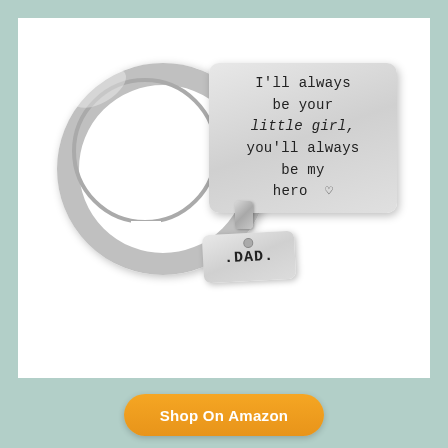[Figure (photo): A stainless steel keychain with a large silver key ring. Attached to the ring is a rectangular main tag engraved with the text "I'll always be your little girl, you'll always be my hero" with a small heart outline. A smaller rectangular tag is also attached engraved with ".DAD."]
Shop On Amazon